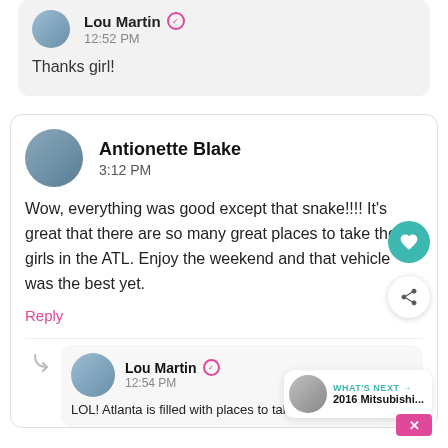Lou Martin 12:52 PM
Thanks girl!
Antionette Blake 3:12 PM
Wow, everything was good except that snake!!!! It's great that there are so many great places to take the girls in the ATL. Enjoy the weekend and that vehicle was the best yet.
Reply
Lou Martin 12:54 PM
LOL! Atlanta is filled with places to take the
WHAT'S NEXT → 2016 Mitsubishi...